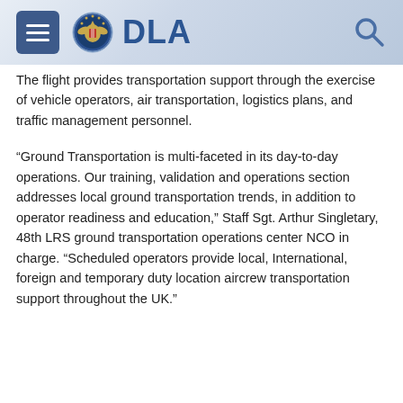DLA
The flight provides transportation support through the exercise of vehicle operators, air transportation, logistics plans, and traffic management personnel.
“Ground Transportation is multi-faceted in its day-to-day operations. Our training, validation and operations section addresses local ground transportation trends, in addition to operator readiness and education,” Staff Sgt. Arthur Singletary, 48th LRS ground transportation operations center NCO in charge. “Scheduled operators provide local, International, foreign and temporary duty location aircrew transportation support throughout the UK.”